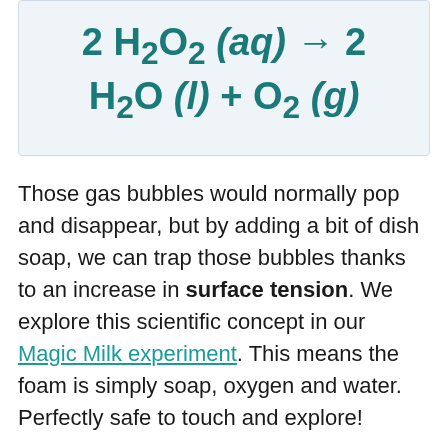Those gas bubbles would normally pop and disappear, but by adding a bit of dish soap, we can trap those bubbles thanks to an increase in surface tension. We explore this scientific concept in our Magic Milk experiment. This means the foam is simply soap, oxygen and water. Perfectly safe to touch and explore!